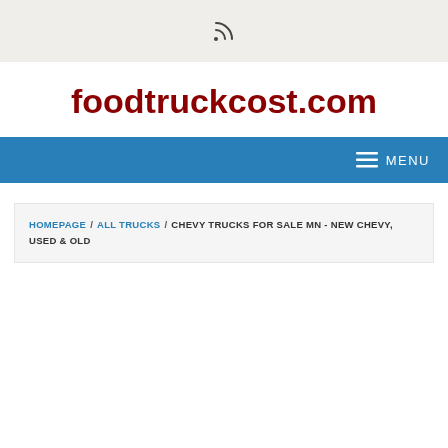RSS icon
foodtruckcost.com
[Figure (other): Blue navigation bar with hamburger menu icon and MENU text]
HOMEPAGE / ALL TRUCKS / CHEVY TRUCKS FOR SALE MN - NEW CHEVY, USED & OLD